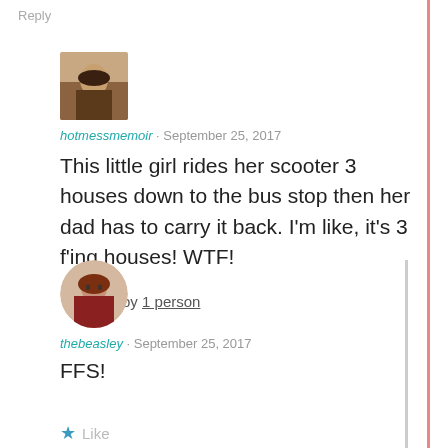Reply
[Figure (photo): Small square avatar photo of a person]
hotmessmemoir · September 25, 2017
This little girl rides her scooter 3 houses down to the bus stop then her dad has to carry it back. I'm like, it's 3 f'ing houses! WTF!
★ Liked by 1 person
[Figure (photo): Round avatar photo of a person with red hair and glasses]
thebeasley · September 25, 2017
FFS!
★ Like